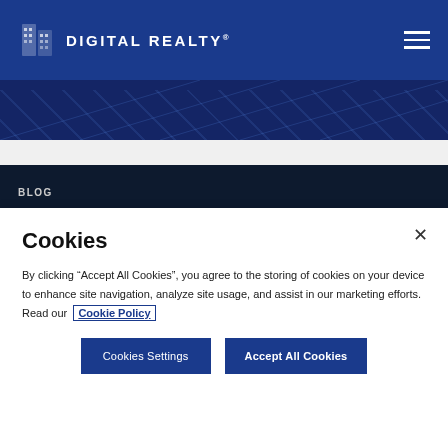[Figure (logo): Digital Realty logo with white building/data center icon and white text DIGITAL REALTY on blue header background]
[Figure (photo): Dark blue hero image showing abstract network/data center grid lines]
[Figure (photo): Dark banner strip with BLOG label and cityscape background]
Cookies
By clicking “Accept All Cookies”, you agree to the storing of cookies on your device to enhance site navigation, analyze site usage, and assist in our marketing efforts. Read our Cookie Policy
Cookies Settings
Accept All Cookies